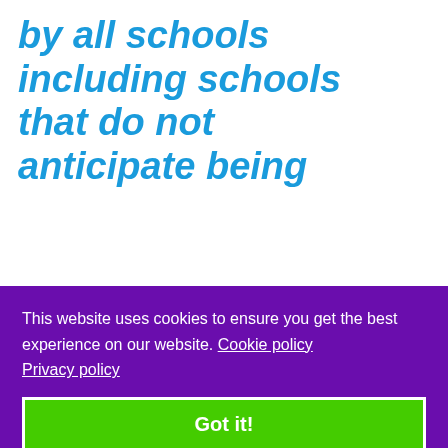by all schools including schools that do not anticipate being
This website uses cookies to ensure you get the best experience on our website. Cookie policy Privacy policy
Got it!
applications as set out in the school's annual admission notice:
Insert selection criteria here